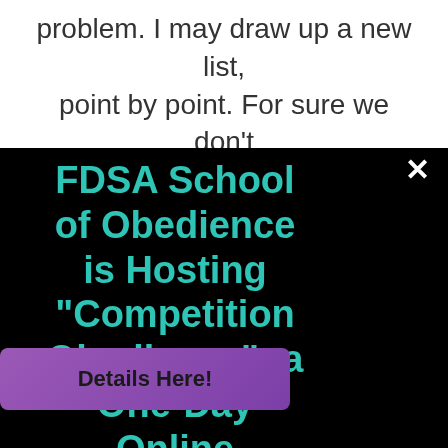problem. I may draw up a new list, point by point. For sure we don't have the skill, but I need to figure
FDSA School of Obedience is Hosting "Competition Obedience"- a One-Day Online Conference Sept 10, 2022!
[Figure (screenshot): Purple button with text 'Details Here!']